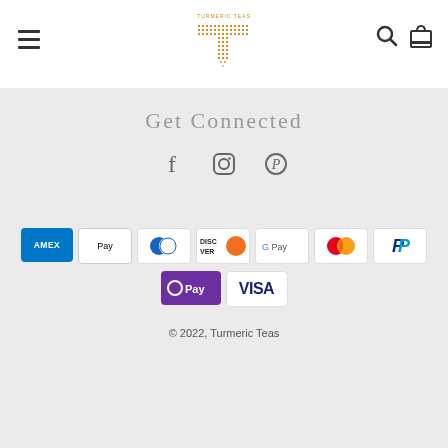[Figure (logo): Turmeric Teas logo — dotted orange T shape with 'TURMERIC TEAS' text above]
Get Connected
[Figure (infographic): Social media icons: Facebook, Instagram, Pinterest]
[Figure (infographic): Payment method icons: AMEX, Apple Pay, Diners Club, Discover, Google Pay, Mastercard, PayPal, O Pay, Visa]
© 2022, Turmeric Teas